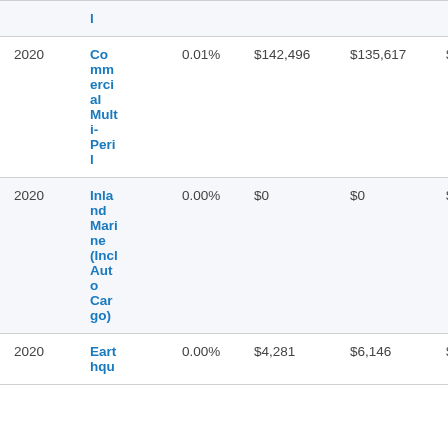| Year | Type | % | Amount 1 | Amount 2 | Amount 3 | Amount 4 |
| --- | --- | --- | --- | --- | --- | --- |
|  | l |  |  |  |  |  |
| 2020 | Commercial Multi-Peril | 0.01% | $142,496 | $135,617 | $1,354,963 | $1... |
| 2020 | Inland Marine (Incl Auto Cargo) | 0.00% | $0 | $0 | $0 | $1... |
| 2020 | Earthquake | 0.00% | $4,281 | $6,146 | $0 | $0... |